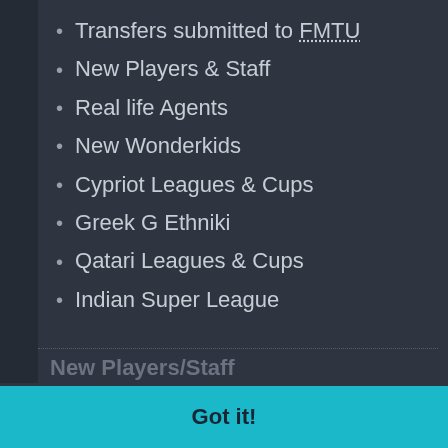Transfers submitted to FMTU
New Players & Staff
Real life Agents
New Wonderkids
Cypriot Leagues & Cups
Greek G Ethniki
Qatari Leagues & Cups
Indian Super League
New Players/Staff
This website uses cookies to ensure you get the best experience on our website.
Learn more
Other Changes
changes to general options include season nationalities, attribute boosts, teams, new stadiums, favorite personal etc.
Got it!